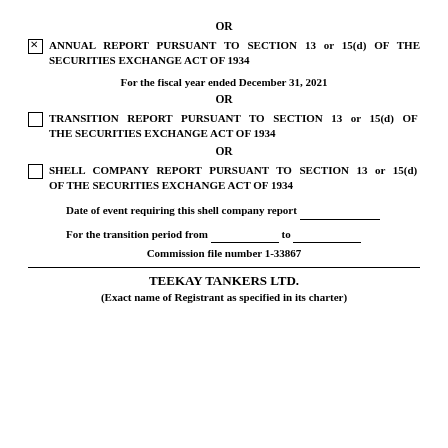OR
ANNUAL REPORT PURSUANT TO SECTION 13 or 15(d) OF THE SECURITIES EXCHANGE ACT OF 1934
For the fiscal year ended December 31, 2021
OR
TRANSITION REPORT PURSUANT TO SECTION 13 or 15(d) OF THE SECURITIES EXCHANGE ACT OF 1934
OR
SHELL COMPANY REPORT PURSUANT TO SECTION 13 or 15(d) OF THE SECURITIES EXCHANGE ACT OF 1934
Date of event requiring this shell company report ___________
For the transition period from ___________ to ___________
Commission file number 1-33867
TEEKAY TANKERS LTD.
(Exact name of Registrant as specified in its charter)